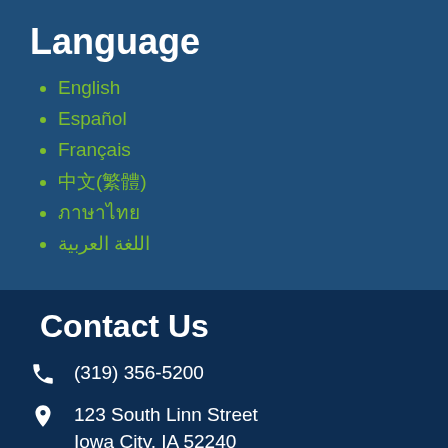Language
English
Español
Français
中文(繁體)
ภาษาไทย
اللغة العربية
Contact Us
(319) 356-5200
123 South Linn Street
Iowa City, IA 52240
Email or Chat